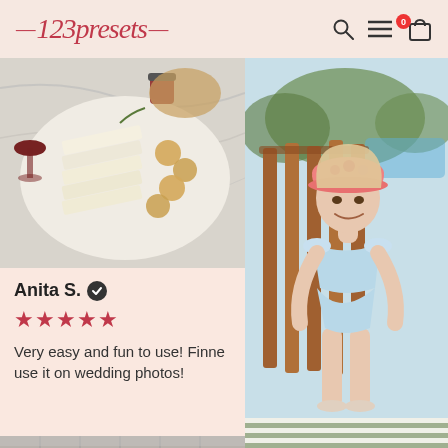[Figure (logo): 123presets logo in red italic script font with decorative dashes on each side]
[Figure (photo): A charcuterie board with cheese, crackers, and jam on a marble surface]
Anita S. ✓
★★★★★
Very easy and fun to use! Finne use it on wedding photos!
[Figure (photo): Partial photo of a bathroom/interior with tiled floor]
[Figure (photo): Young girl in a blue floral bikini and pink hat standing by a wooden fence near a pool]